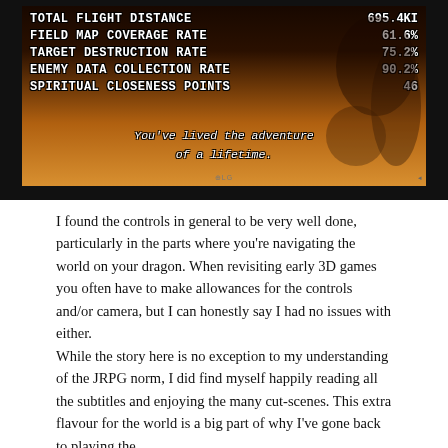[Figure (screenshot): Video game screenshot on a dark TV screen showing end-of-game statistics: TOTAL FLIGHT DISTANCE 695.4KI, FIELD MAP COVERAGE RATE 61.6%, TARGET DESTRUCTION RATE 75.2%, ENEMY DATA COLLECTION RATE 90.2%, SPIRITUAL CLOSENESS POINTS 46, with italic text 'You've lived the adventure of a lifetime.' A character/dragon figure is visible on the right side against an orange background. LG TV brand visible at bottom.]
I found the controls in general to be very well done, particularly in the parts where you're navigating the world on your dragon. When revisiting early 3D games you often have to make allowances for the controls and/or camera, but I can honestly say I had no issues with either.
While the story here is no exception to my understanding of the JRPG norm, I did find myself happily reading all the subtitles and enjoying the many cut-scenes. This extra flavour for the world is a big part of why I've gone back to playing the